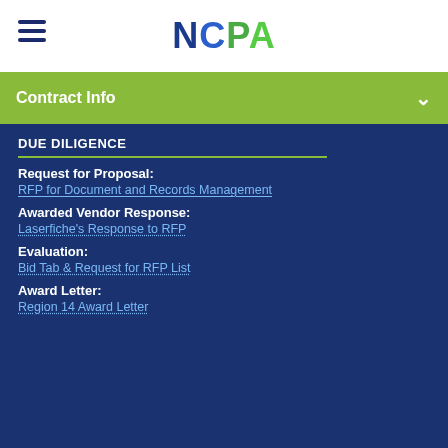[Figure (logo): NCPA logo with hamburger menu icon]
Contract Info
DUE DILIGENCE
Request for Proposal:
RFP for Document and Records Management
Awarded Vendor Response:
Laserfiche's Response to RFP
Evaluation:
Bid Tab & Request for RFP List
Award Letter:
Region 14 Award Letter